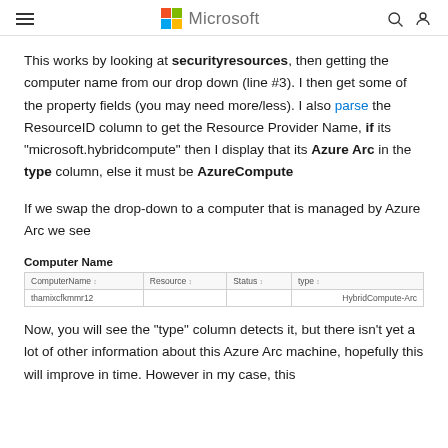Microsoft
This works by looking at securityresources, then getting the computer name from our drop down (line #3). I then get some of the property fields (you may need more/less). I also parse the ResourceID column to get the Resource Provider Name, if its "microsoft.hybridcompute" then I display that its Azure Arc in the type column, else it must be AzureCompute
If we swap the drop-down to a computer that is managed by Azure Arc we see
Computer Name
| ComputerName | Resource | Status | type |
| --- | --- | --- | --- |
| thamixcfkmmr12 |  |  | HybridCompute-Arc |
Now, you will see the "type" column detects it, but there isn't yet a lot of other information about this Azure Arc machine, hopefully this will improve in time.  However in my case, this